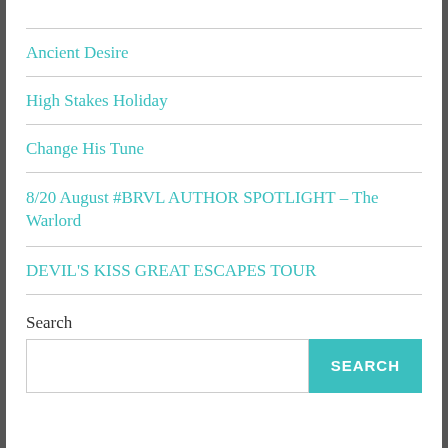Ancient Desire
High Stakes Holiday
Change His Tune
8/20 August #BRVL AUTHOR SPOTLIGHT – The Warlord
DEVIL'S KISS GREAT ESCAPES TOUR
Search